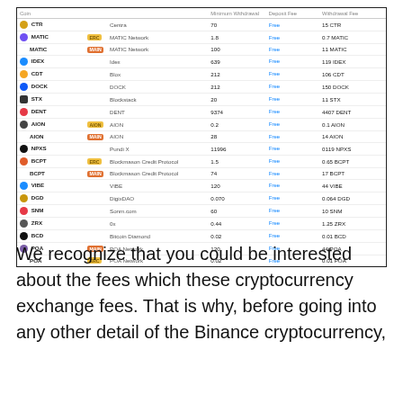| Coin |  |  | Minimum Withdrawal | Deposit Fee | Withdrawal Fee |
| --- | --- | --- | --- | --- | --- |
| CTR |  | Centra | 70 | Free | 15 CTR |
| MATIC | ERC | MATIC Network | 1.8 | Free | 0.7 MATIC |
| MATIC | MAIN | MATIC Network | 100 | Free | 11 MATIC |
| IDEX |  | Idex | 639 | Free | 119 IDEX |
| CDT |  | Blox | 212 | Free | 106 CDT |
| DOCK | DOCK | DOCK | 212 | Free | 150 DOCK |
| STX |  | Blockstack | 20 | Free | 11 STX |
| DENT |  | DENT | 9374 | Free | 4407 DENT |
| AION | AION | AION | 0.2 | Free | 0.1 AION |
| AION | MAIN | AION | 28 | Free | 14 AION |
| NPXS |  | Pundi X | 11996 | Free | 0119 NPXS |
| BCPT | ERC | Blockmason Credit Protocol | 1.5 | Free | 0.65 BCPT |
| BCPT | MAIN | Blockmason Credit Protocol | 74 | Free | 17 BCPT |
| VIBE |  | VIBE | 120 | Free | 44 VIBE |
| DGD |  | DigixDAO | 0.070 | Free | 0.064 DGD |
| SNM |  | Sonm.com | 60 | Free | 10 SNM |
| ZRX |  | 0x | 0.44 | Free | 1.25 ZRX |
| BCD |  | Bitcoin Diamond | 0.02 | Free | 0.01 BCD |
| POA | MAIN | POA Network | 120 | Free | 44 POA |
| POA | ERC | POA Network | 0.02 | Free | 0.01 POA |
We recognize that you could be interested about the fees which these cryptocurrency exchange fees. That is why, before going into any other detail of the Binance cryptocurrency,